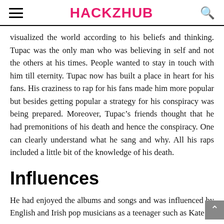HACKZHUB
visualized the world according to his beliefs and thinking. Tupac was the only man who was believing in self and not the others at his times. People wanted to stay in touch with him till eternity. Tupac now has built a place in heart for his fans. His craziness to rap for his fans made him more popular but besides getting popular a strategy for his conspiracy was being prepared. Moreover, Tupac’s friends thought that he had premonitions of his death and hence the conspiracy. One can clearly understand what he sang and why. All his raps included a little bit of the knowledge of his death.
Influences
He had enjoyed the albums and songs and was influenced by English and Irish pop musicians as a teenager such as Kate